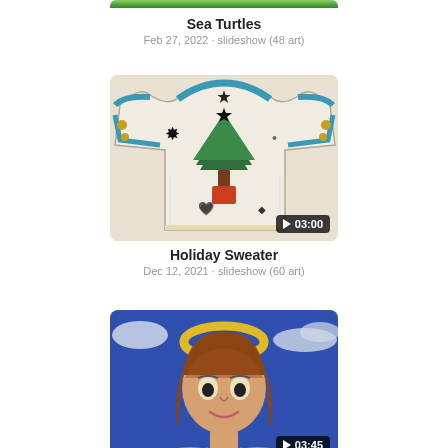Sea Turtles
Feb 27, 2022 · slideshow (48 art)
[Figure (photo): Thumbnail of holiday sweater artwork with a Christmas tree design, showing a video badge with play button and 03:00 timestamp]
Holiday Sweater
Dec 12, 2021 · slideshow (60 art)
[Figure (photo): Thumbnail of an angel artwork drawing with a halo, blue background, and child's face, showing a video badge with play button and 03:45 timestamp]